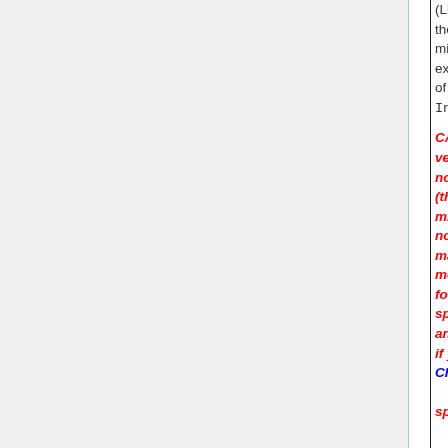(Line 3) is se then neither mixing option executed, re of the setting Input_Opt
CAVEAT: In version, it h noted that V (the non-loc mixing opti not strictly mass. This more of a p for long-live species like and CO2. T if you are u CH4 or CO2 specialty